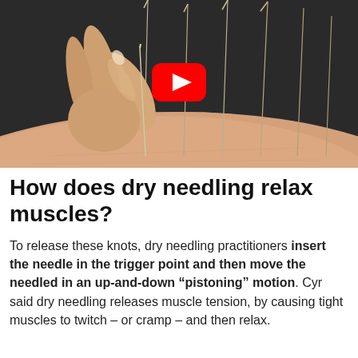[Figure (photo): Photo of a hand inserting acupuncture needles into skin, with multiple thin needles already inserted, shown against a dark background. A YouTube play button overlay is centered on the image.]
How does dry needling relax muscles?
To release these knots, dry needling practitioners insert the needle in the trigger point and then move the needled in an up-and-down “pistoning” motion. Cyr said dry needling releases muscle tension, by causing tight muscles to twitch – or cramp – and then relax.